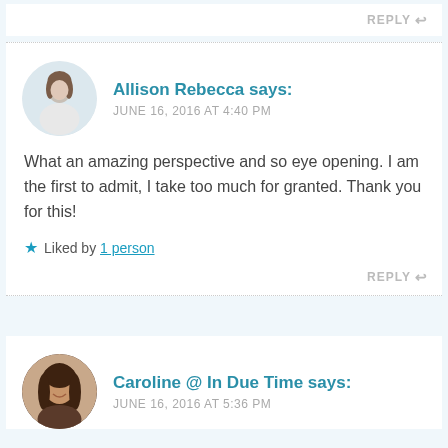REPLY ↩
[Figure (photo): Avatar photo of Allison Rebecca, a woman in white shirt]
Allison Rebecca says:
JUNE 16, 2016 AT 4:40 PM
What an amazing perspective and so eye opening. I am the first to admit, I take too much for granted. Thank you for this!
Liked by 1 person
REPLY ↩
[Figure (photo): Avatar photo of Caroline, a woman with long dark hair]
Caroline @ In Due Time says:
JUNE 16, 2016 AT 5:36 PM